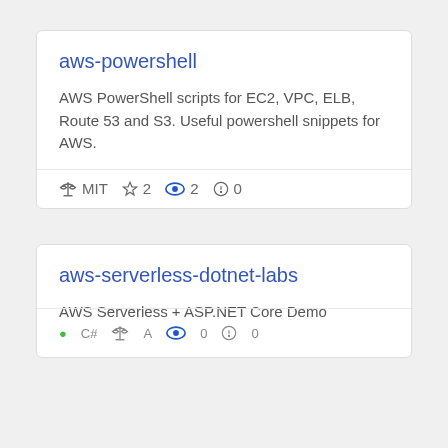aws-powershell
AWS PowerShell scripts for EC2, VPC, ELB, Route 53 and S3. Useful powershell snippets for AWS.
MIT  ☆ 2  👁 2  ⓘ 0
aws-serverless-dotnet-labs
AWS Serverless + ASP.NET Core Demo